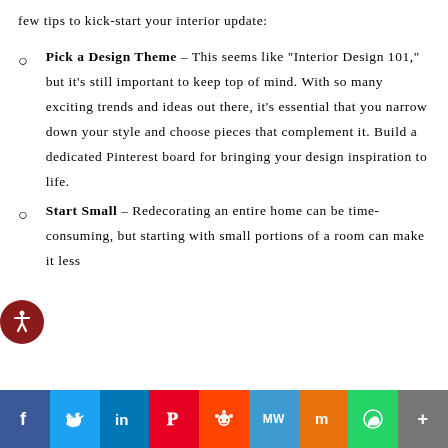few tips to kick-start your interior update:
Pick a Design Theme – This seems like "Interior Design 101," but it's still important to keep top of mind. With so many exciting trends and ideas out there, it's essential that you narrow down your style and choose pieces that complement it. Build a dedicated Pinterest board for bringing your design inspiration to life.
Start Small – Redecorating an entire home can be time-consuming, but starting with small portions of a room can make it less
[Figure (infographic): Social media share bar with icons: Facebook (blue), Twitter (light blue), LinkedIn (dark blue), Pinterest (red), Reddit (orange-red), MW (blue), Mix (orange), WhatsApp (green), More (grey)]